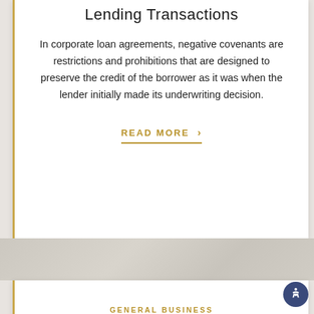Lending Transactions
In corporate loan agreements, negative covenants are restrictions and prohibitions that are designed to preserve the credit of the borrower as it was when the lender initially made its underwriting decision.
READ MORE >
GENERAL BUSINESS